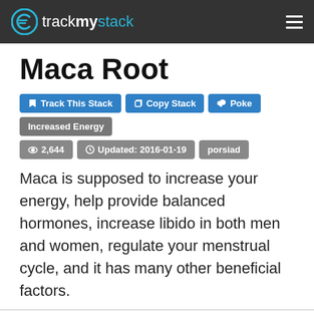trackmystack
Maca Root
Track This Stack  Copy Stack  Poke  Increased Energy  2,644  Updated: 2016-01-19  porsiad
Maca is supposed to increase your energy, help provide balanced hormones, increase libido in both men and women, regulate your menstrual cycle, and it has many other beneficial factors.
Stack  Effects 9  Posts 0  Change Log  share